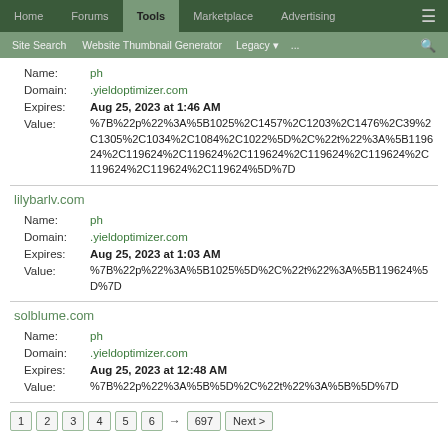Home | Forums | Tools | Marketplace | Advertising
Site Search | Website Thumbnail Generator | Legacy | ... | search
Name: ph
Domain: .yieldoptimizer.com
Expires: Aug 25, 2023 at 1:46 AM
Value: %7B%22p%22%3A%5B1025%2C1457%2C1203%2C1476%2C39%2C1305%2C1034%2C1084%2C1022%5D%2C%22t%22%3A%5B119624%2C119624%2C119624%2C119624%2C119624%2C119624%2C119624%2C119624%2C119624%5D%7D
lilybarlv.com
Name: ph
Domain: .yieldoptimizer.com
Expires: Aug 25, 2023 at 1:03 AM
Value: %7B%22p%22%3A%5B1025%5D%2C%22t%22%3A%5B119624%5D%7D
solblume.com
Name: ph
Domain: .yieldoptimizer.com
Expires: Aug 25, 2023 at 12:48 AM
Value: %7B%22p%22%3A%5B%5D%2C%22t%22%3A%5B%5D%7D
1 2 3 4 5 6 → 697 Next >